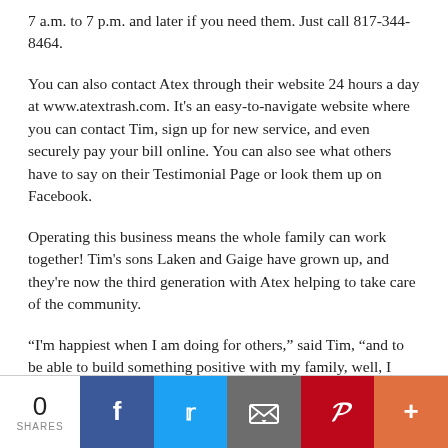7 a.m. to 7 p.m. and later if you need them. Just call 817-344-8464.
You can also contact Atex through their website 24 hours a day at www.atextrash.com. It's an easy-to-navigate website where you can contact Tim, sign up for new service, and even securely pay your bill online. You can also see what others have to say on their Testimonial Page or look them up on Facebook.
Operating this business means the whole family can work together! Tim's sons Laken and Gaige have grown up, and they're now the third generation with Atex helping to take care of the community.
“I'm happiest when I am doing for others,” said Tim, “and to be able to build something positive with my family, well, I simply couldn't ask for anything more.”
0 SHARES | Facebook | Twitter | Email | Pinterest | More